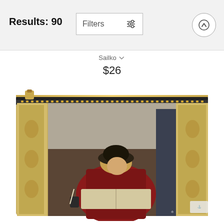Results: 90
Filters
Sailko
$26
[Figure (photo): A zippered pouch/carry-all featuring a classical painting print showing a scholar in Renaissance attire reading and writing in a book, displayed in an ornate gilded frame. The pouch has a black zipper with a gold pull tab.]